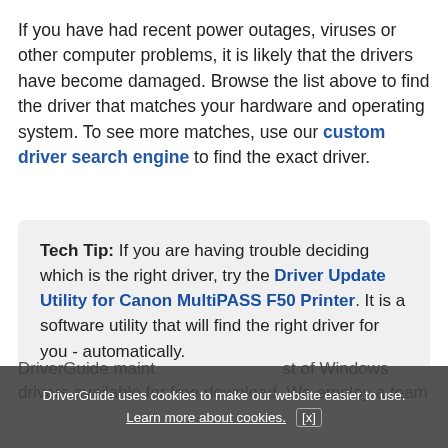If you have had recent power outages, viruses or other computer problems, it is likely that the drivers have become damaged. Browse the list above to find the driver that matches your hardware and operating system. To see more matches, use our custom driver search engine to find the exact driver.
Tech Tip: If you are having trouble deciding which is the right driver, try the Driver Update Utility for Canon MultiPASS F50 Printer. It is a software utility that will find the right driver for you - automatically.
DriverGuide uses cookies to make our website easier to use. Learn more about cookies. [x]
DriverGuide maintains a largest list of Windows drivers available for free download. We employ a team